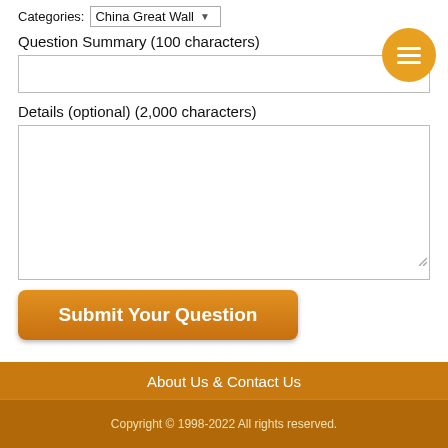Categories: China Great Wall
Question Summary (100 characters)
[Figure (other): Orange circular hamburger menu button with three horizontal white lines]
Details (optional) (2,000 characters)
Submit Your Question
About Us & Contact Us
Copyright © 1998-2022 All rights reserved.